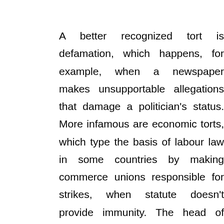A better recognized tort is defamation, which happens, for example, when a newspaper makes unsupportable allegations that damage a politician's status. More infamous are economic torts, which type the basis of labour law in some countries by making commerce unions responsible for strikes, when statute doesn't provide immunity. The head of state is aside from the executive, and symbolically enacts legal guidelines and acts as consultant of the nation. Examples embrace the President of Germany , the